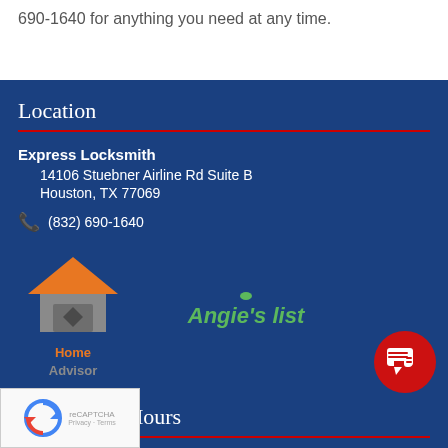690-1640 for anything you need at any time.
Location
Express Locksmith
14106 Stuebner Airline Rd Suite B
Houston, TX 77069
(832) 690-1640
[Figure (logo): HomeAdvisor logo with house icon in orange and grey]
[Figure (logo): Angie's list logo in green italic text]
[Figure (illustration): Red circle chat bubble icon in bottom right]
[Figure (logo): reCAPTCHA widget with Privacy and Terms labels]
Business Hours